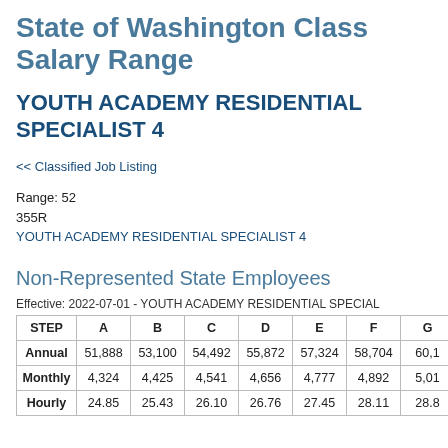State of Washington Class Salary Range
YOUTH ACADEMY RESIDENTIAL SPECIALIST 4
<< Classified Job Listing
Range: 52
355R
YOUTH ACADEMY RESIDENTIAL SPECIALIST 4
Non-Represented State Employees
Effective: 2022-07-01 - YOUTH ACADEMY RESIDENTIAL SPECIAL
| STEP | A | B | C | D | E | F | G |
| --- | --- | --- | --- | --- | --- | --- | --- |
| Annual | 51,888 | 53,100 | 54,492 | 55,872 | 57,324 | 58,704 | 60,1 |
| Monthly | 4,324 | 4,425 | 4,541 | 4,656 | 4,777 | 4,892 | 5,01 |
| Hourly | 24.85 | 25.43 | 26.10 | 26.76 | 27.45 | 28.11 | 28.8 |